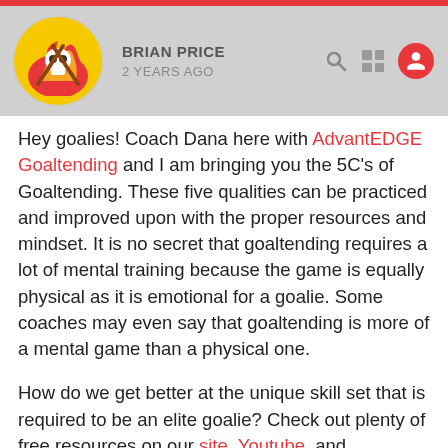2 YEARS AGO
Hey goalies! Coach Dana here with AdvantEDGE Goaltending and I am bringing you the 5C's of Goaltending. These five qualities can be practiced and improved upon with the proper resources and mindset. It is no secret that goaltending requires a lot of mental training because the game is equally physical as it is emotional for a goalie. Some coaches may even say that goaltending is more of a mental game than a physical one.
How do we get better at the unique skill set that is required to be an elite goalie? Check out plenty of free resources on our site, Youtube, and Facebook. Also, If you are a fellow female goalie, you can join our private Facebook